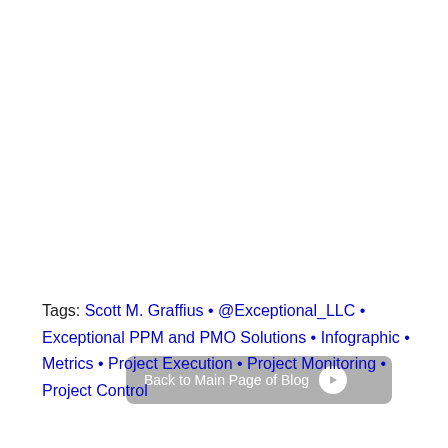[Figure (other): A grey rounded button labeled 'Back to Main Page of Blog' with a circular arrow icon on the right]
Tags: Scott M. Graffius • @Exceptional_LLC • Exceptional PPM and PMO Solutions • Infographic • Metrics • Project Execution • Project Monitoring • Project Control